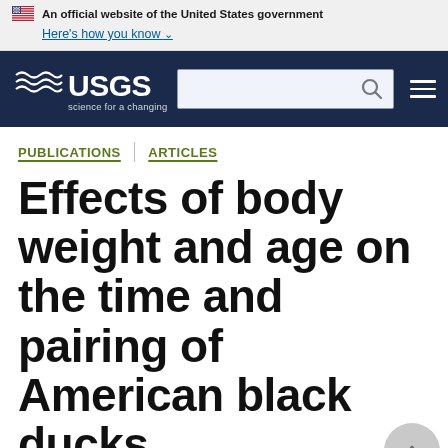An official website of the United States government
Here's how you know
[Figure (logo): USGS logo with text 'science for a changing world' on navy background, with search bar and hamburger menu]
PUBLICATIONS | ARTICLES
Effects of body weight and age on the time and pairing of American black ducks